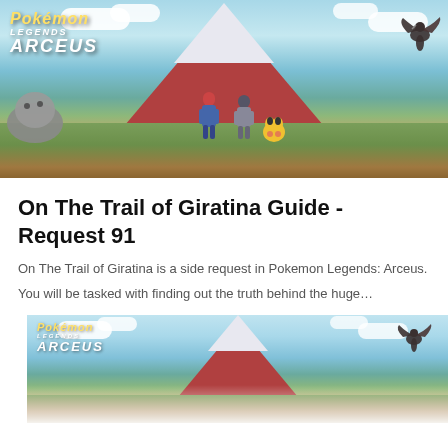[Figure (photo): Pokemon Legends: Arceus game promotional image showing two characters standing on a hillside facing a large red mountain with snow cap, various Pokemon around them including Pikachu, with the game logo in the top left and a bird Pokemon flying top right. Sky with clouds in background.]
On The Trail of Giratina Guide - Request 91
On The Trail of Giratina is a side request in Pokemon Legends: Arceus.
You will be tasked with finding out the truth behind the huge…
[Figure (photo): Second Pokemon Legends: Arceus promotional image showing the same game art from a slightly different crop — the logo visible on left, mountain in center, bird Pokemon on right, sky with clouds. Bottom portion fades to white.]